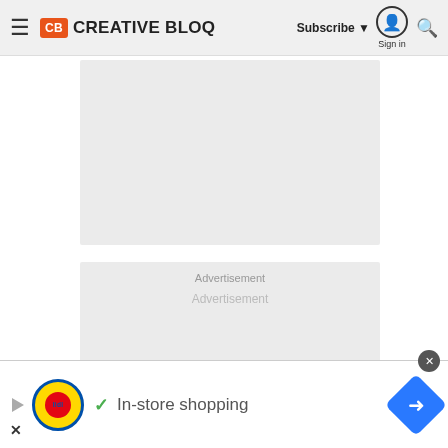CB CREATIVE BLOQ — Subscribe ▼ Sign in 🔍
[Figure (other): Gray advertisement placeholder box 1]
[Figure (other): Gray advertisement placeholder box 2 with 'Advertisement' label]
[Figure (other): Bottom banner advertisement: Lidl logo, checkmark, 'In-store shopping' text, blue navigation diamond icon, close button]